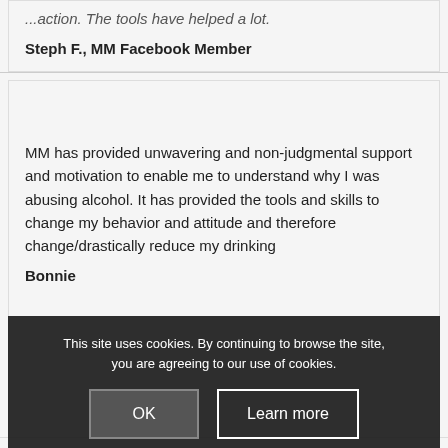...action. The tools have helped a lot.
Steph F., MM Facebook Member
MM has provided unwavering and non-judgmental support and motivation to enable me to understand why I was abusing alcohol. It has provided the tools and skills to change my behavior and attitude and therefore change/drastically reduce my drinking
Bonnie
This site uses cookies. By continuing to browse the site, you are agreeing to our use of cookies.